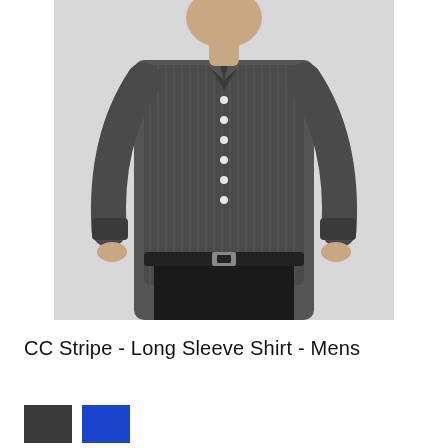[Figure (photo): A man wearing a dark grey/black fine stripe long sleeve dress shirt with white buttons, black trousers, and a black leather belt with silver buckle. The photo is cropped from the shoulders down to mid-calf against a light grey background.]
CC Stripe - Long Sleeve Shirt - Mens
[Figure (other): Two color swatches side by side: a dark charcoal/black square and a bright blue square, representing available color options for the shirt.]